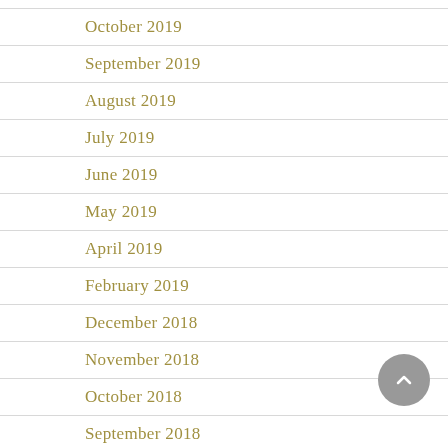October 2019
September 2019
August 2019
July 2019
June 2019
May 2019
April 2019
February 2019
December 2018
November 2018
October 2018
September 2018
August 2018